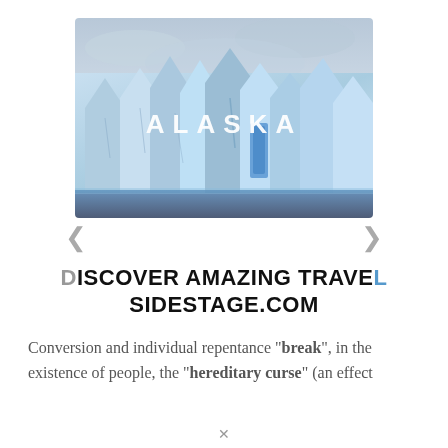[Figure (photo): Photo of blue-white glacier ice formations against a cloudy sky, with the text 'ALASKA' overlaid in white spaced capital letters across the center of the image. Navigation arrows (< and >) appear below the image.]
DISCOVER AMAZING TRAVEL SIDESTAGE.COM
Conversion and individual repentance "break", in the existence of people, the "hereditary curse" (an effect